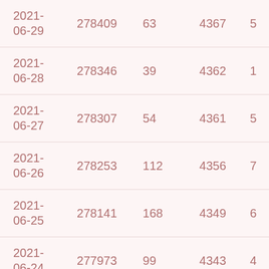| 2021-06-29 | 278409 | 63 | 4367 | 5 |
| 2021-06-28 | 278346 | 39 | 4362 | 1 |
| 2021-06-27 | 278307 | 54 | 4361 | 5 |
| 2021-06-26 | 278253 | 112 | 4356 | 7 |
| 2021-06-25 | 278141 | 168 | 4349 | 6 |
| 2021-06-24 | 277973 | 99 | 4343 | 4 |
| 2021-06-23 | 277874 | 111 | 4339 | 2 |
| 2021- | 277763 | 72 | 4337 | 4 |